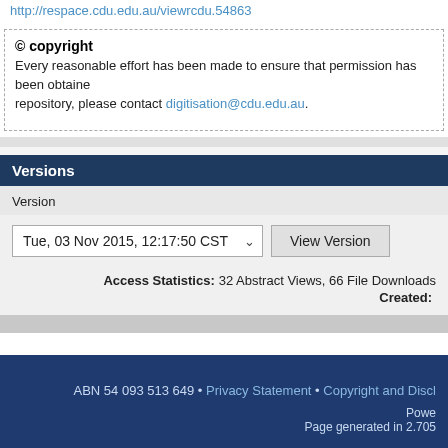http://respace.cdu.edu.au/viewrcdu.54863
© copyright
Every reasonable effort has been made to ensure that permission has been obtained repository, please contact digitisation@cdu.edu.au.
Versions
Version
Tue, 03 Nov 2015, 12:17:50 CST   View Version
Access Statistics: 32 Abstract Views, 66 File Downloads
Created:
ABN 54 093 513 649 • Privacy Statement • Copyright and Discl...
Powered by...
Page generated in 2.705...